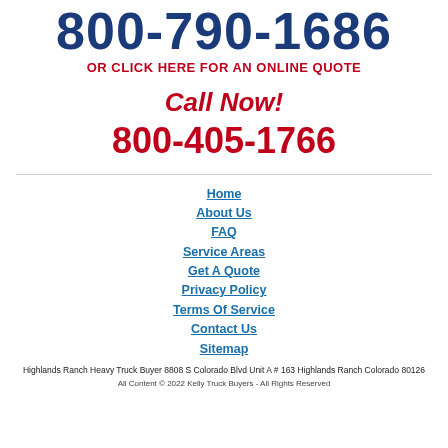800-790-1686
OR CLICK HERE FOR AN ONLINE QUOTE
Call Now!
800-405-1766
Home
About Us
FAQ
Service Areas
Get A Quote
Privacy Policy
Terms Of Service
Contact Us
Sitemap
Highlands Ranch Heavy Truck Buyer 8808 S Colorado Blvd Unit A # 163 Highlands Ranch Colorado 80126
All Content © 2022 Kelly Truck Buyers - All Rights Reserved